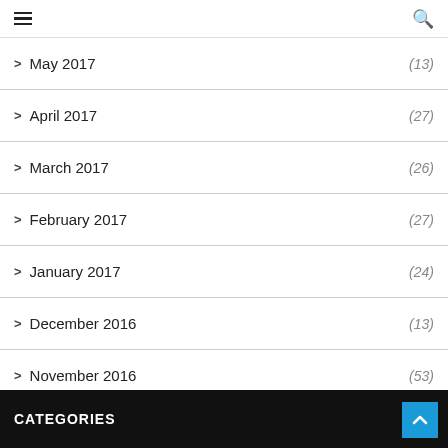Navigation header with hamburger menu and search icon
May 2017 (13)
April 2017 (27)
March 2017 (26)
February 2017 (27)
January 2017 (24)
December 2016 (13)
November 2016 (53)
October 2016 (10)
CATEGORIES